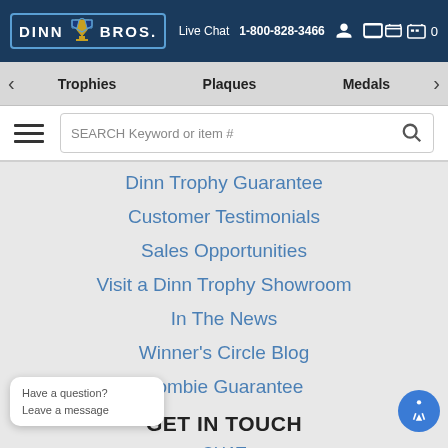Dinn Bros. Live Chat 1-800-828-3466
Trophies Plaques Medals
Dinn Trophy Guarantee
Customer Testimonials
Sales Opportunities
Visit a Dinn Trophy Showroom
In The News
Winner's Circle Blog
Zombie Guarantee
GET IN TOUCH
CHAT
Have a question? Leave a message